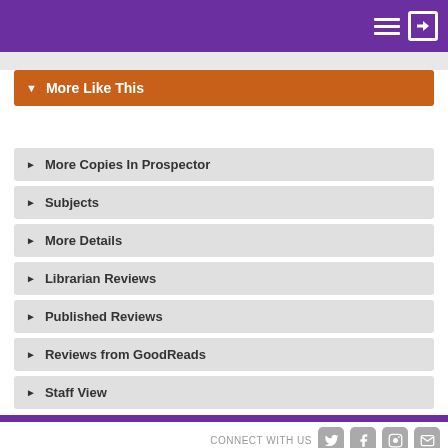Navigation header with menu and sign-in icons
▼ More Like This
► More Copies In Prospector
► Subjects
► More Details
► Librarian Reviews
► Published Reviews
► Reviews from GoodReads
► Staff View
CONNECT WITH US  v. 2022.02.3